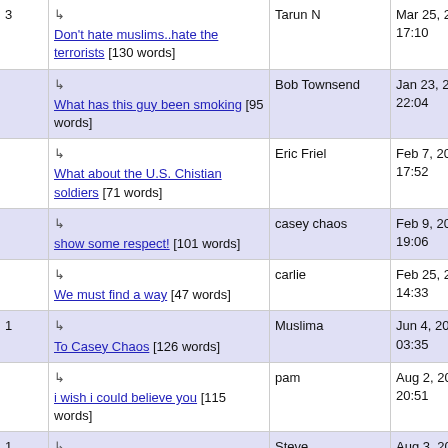| # | Title | Author | Date |
| --- | --- | --- | --- |
| 3 | ↳ Don't hate muslims..hate the terrorists [130 words] | Tarun N | Mar 25, 2003 17:10 |
|  | ↳ What has this guy been smoking [95 words] | Bob Townsend | Jan 23, 2006 22:04 |
|  | ↳ What about the U.S. Chistian soldiers [71 words] | Eric Friel | Feb 7, 2006 17:52 |
|  | ↳ show some respect! [101 words] | casey chaos | Feb 9, 2006 19:06 |
|  | ↳ We must find a way [47 words] | carlie | Feb 25, 2006 14:33 |
| 1 | ↳ To Casey Chaos [126 words] | Muslima | Jun 4, 2006 03:35 |
|  | ↳ i wish i could believe you [115 words] | pam | Aug 2, 2006 20:51 |
| 1 | ↳ British Muslims need to respect the british way of life or leave [85 | Steve | Aug 3, 2006 16:51 |